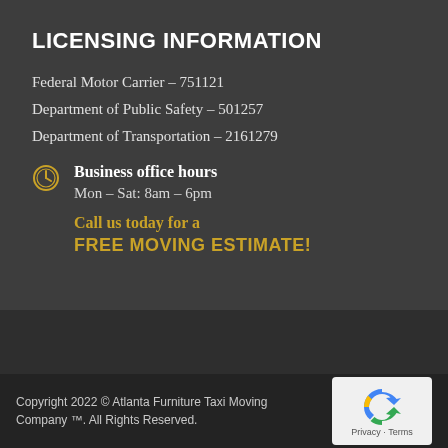LICENSING INFORMATION
Federal Motor Carrier – 751121
Department of Public Safety – 501257
Department of Transportation – 2161279
Business office hours
Mon – Sat: 8am – 6pm
Call us today for a
FREE MOVING ESTIMATE!
Copyright 2022 © Atlanta Furniture Taxi Moving Company ™. All Rights Reserved.